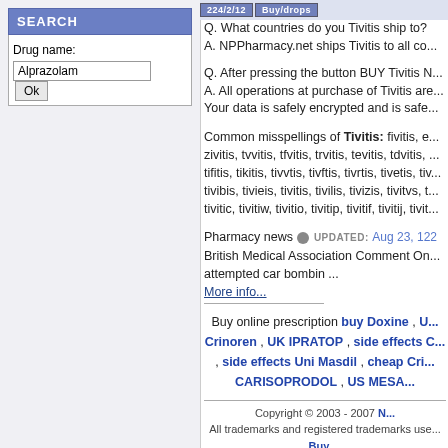SEARCH
Drug name: Alprazolam
Q. What countries do you Tivitis ship to?
A. NPPharmacy.net ships Tivitis to all co...
Q. After pressing the button BUY Tivitis N...
A. All operations at purchase of Tivitis are...
Your data is safely encrypted and is safe...
Common misspellings of Tivitis: fivitis, e... zivitis, tvvitis, tfvitis, trvitis, tevitis, tdvitis, tifitis, tikitis, tivvtis, tivftis, tivrtis, tivetis, tiv... tivibis, tivieis, tivitis, tivilis, tivizis, tivitvs, t... tivitic, tivitiw, tivitio, tivitip, tivitif, tivitij, tivit...
Pharmacy news UPDATED: Aug 23, 122
British Medical Association Comment On...
attempted car bombin ...
More info...
Buy online prescription buy Doxine , U... Crinoren , UK IPRATOP , side effects C... , side effects Uni Masdil , cheap Cri... CARISOPRODOL , US MESA...
Copyright © 2003 - 2007 N...
All trademarks and registered trademarks use...
Buy ...